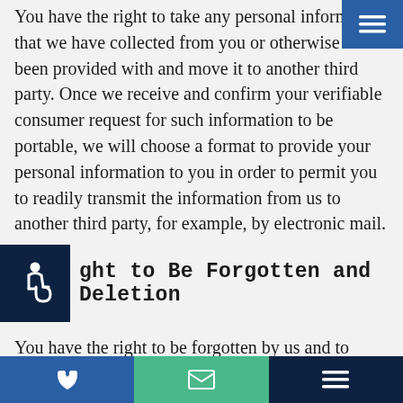You have the right to take any personal information that we have collected from you or otherwise have been provided with and move it to another third party. Once we receive and confirm your verifiable consumer request for such information to be portable, we will choose a format to provide your personal information to you in order to permit you to readily transmit the information from us to another third party, for example, by electronic mail.
Right to Be Forgotten and Deletion
You have the right to be forgotten by us and to request the deletion of any of your personal information that we have collected from you or otherwise been provided with.  Please understand that California law permits us to retain certain information and not to delete it under certain circumstances.  By way of example, we are not required to